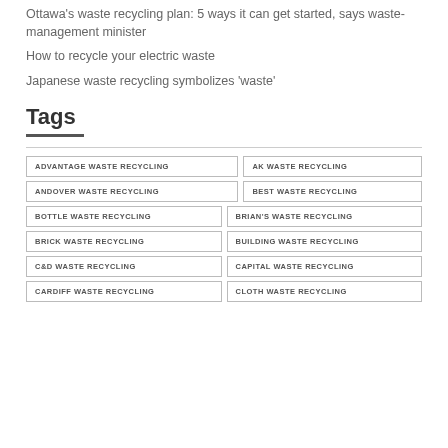Ottawa's waste recycling plan: 5 ways it can get started, says waste-management minister
How to recycle your electric waste
Japanese waste recycling symbolizes 'waste'
Tags
ADVANTAGE WASTE RECYCLING
AK WASTE RECYCLING
ANDOVER WASTE RECYCLING
BEST WASTE RECYCLING
BOTTLE WASTE RECYCLING
BRIAN'S WASTE RECYCLING
BRICK WASTE RECYCLING
BUILDING WASTE RECYCLING
C&D WASTE RECYCLING
CAPITAL WASTE RECYCLING
CARDIFF WASTE RECYCLING
CLOTH WASTE RECYCLING